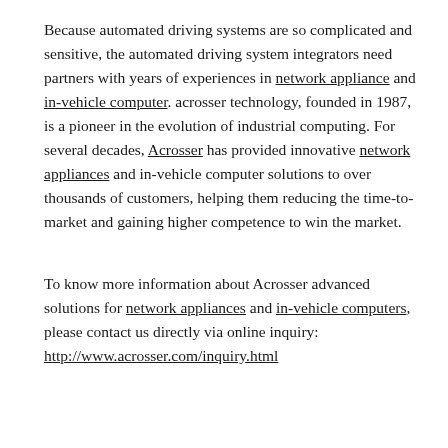Because automated driving systems are so complicated and sensitive, the automated driving system integrators need partners with years of experiences in network appliance and in-vehicle computer. acrosser technology, founded in 1987, is a pioneer in the evolution of industrial computing. For several decades, Acrosser has provided innovative network appliances and in-vehicle computer solutions to over thousands of customers, helping them reducing the time-to-market and gaining higher competence to win the market.
To know more information about Acrosser advanced solutions for network appliances and in-vehicle computers, please contact us directly via online inquiry: http://www.acrosser.com/inquiry.html